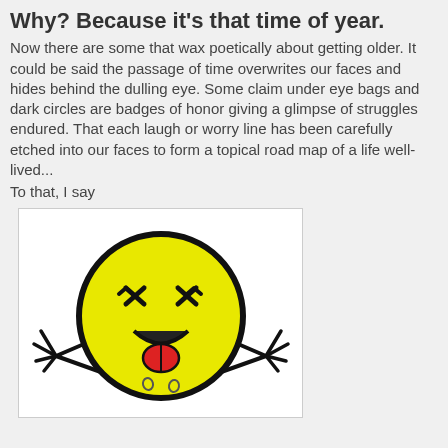Why? Because it's that time of year.
Now there are some that wax poetically about getting older. It could be said the passage of time overwrites our faces and hides behind the dulling eye. Some claim under eye bags and dark circles are badges of honor giving a glimpse of struggles endured. That each laugh or worry line has been carefully etched into our faces to form a topical road map of a life well-lived...
To that, I say
[Figure (illustration): A cartoonish yellow smiley face with squinting/closed eyes, tongue sticking out, and arms extended to the sides like a shrug or dismissive gesture. The face has a thick black outline and the tongue is red. There are small drip marks below the mouth.]